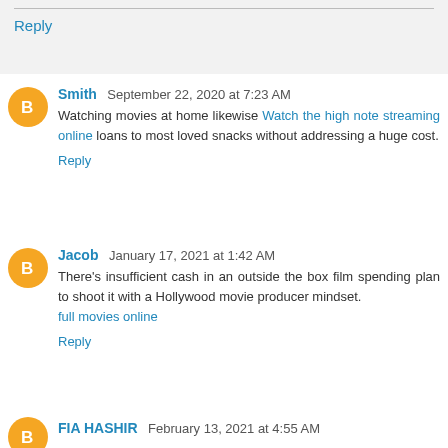Reply
Smith September 22, 2020 at 7:23 AM
Watching movies at home likewise Watch the high note streaming online loans to most loved snacks without addressing a huge cost.
Reply
Jacob January 17, 2021 at 1:42 AM
There's insufficient cash in an outside the box film spending plan to shoot it with a Hollywood movie producer mindset. full movies online
Reply
FIA HASHIR February 13, 2021 at 4:55 AM